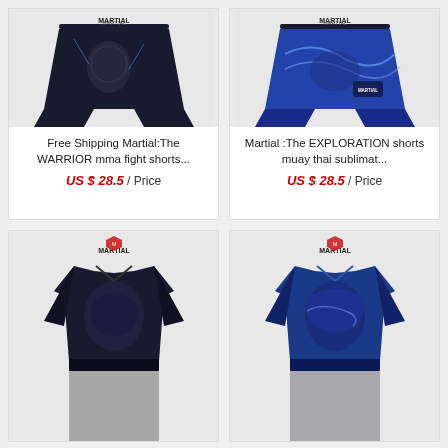[Figure (photo): MARTIAL branded MMA fight shorts with dark warrior/skull graphic design]
Free Shipping Martial:The WARRIOR mma fight shorts...
US $ 28.5 / Price
[Figure (photo): MARTIAL branded MMA fight shorts with blue ocean/exploration graphic design]
Martial :The EXPLORATION shorts muay thai sublimat...
US $ 28.5 / Price
[Figure (photo): MARTIAL branded MMA rashguard/jacket with dark dragon graphic design, bottom row left]
[Figure (photo): MARTIAL branded MMA rashguard/jacket with blue graphic design, bottom row right]